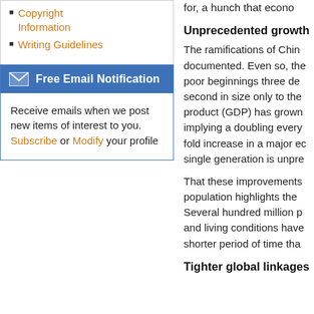Copyright Information
Writing Guidelines
Free Email Notification
Receive emails when we post new items of interest to you. Subscribe or Modify your profile
for, a hunch that econo
Unprecedented growth
The ramifications of Chin documented. Even so, the poor beginnings three de second in size only to the product (GDP) has grown implying a doubling every fold increase in a major ec single generation is unpre
That these improvements population highlights the Several hundred million p and living conditions have shorter period of time tha
Tighter global linkages